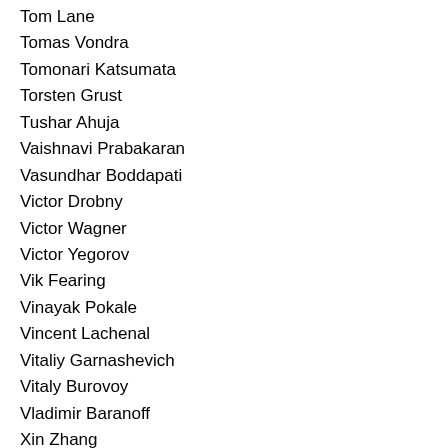Tom Lane
Tomas Vondra
Tomonari Katsumata
Torsten Grust
Tushar Ahuja
Vaishnavi Prabakaran
Vasundhar Boddapati
Victor Drobny
Victor Wagner
Victor Yegorov
Vik Fearing
Vinayak Pokale
Vincent Lachenal
Vitaliy Garnashevich
Vitaly Burovoy
Vladimir Baranoff
Xin Zhang
Yi Wen Wong
Yorick Peterse